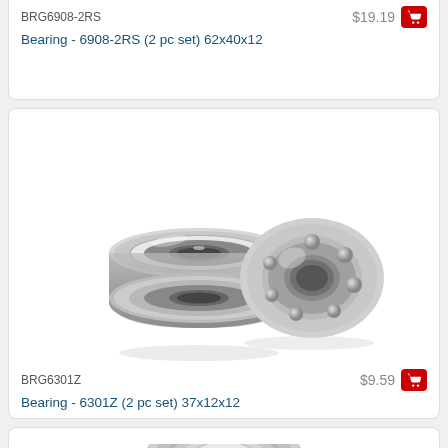BRG6908-2RS
$19.19
Bearing - 6908-2RS (2 pc set) 62x40x12
[Figure (photo): Two ball bearings shown side by side - one sealed and one open showing ball race]
BRG6301Z
$9.59
Bearing - 6301Z (2 pc set) 37x12x12
[Figure (photo): Single sealed ball bearing viewed from front angle]